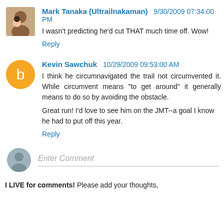Mark Tanaka (Ultrailnakaman) 9/30/2009 07:34:00 PM
I wasn't predicting he'd cut THAT much time off. Wow!
Reply
Kevin Sawchuk 10/29/2009 09:53:00 AM
I think he circumnavigated the trail not circumvented it. While circumvent means "to get around" it generally means to do so by avoiding the obstacle.

Great run! I'd love to see him on the JMT--a goal I know he had to put off this year.
Reply
Enter Comment
I LIVE for comments! Please add your thoughts,